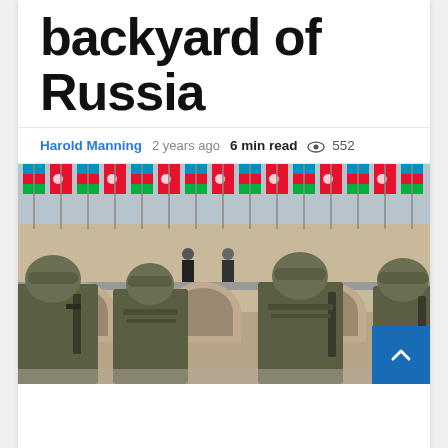backyard of Russia
Harold Manning  2 years ago  6 min read  552
[Figure (photo): Military parade with soldiers in camouflage gear marching in front of a building balcony decorated with alternating Turkish and Azerbaijani flags, with two officials standing on the balcony watching.]